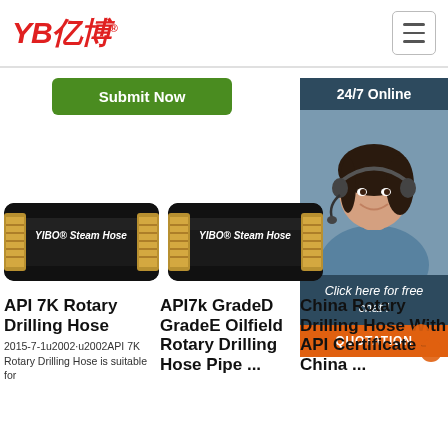[Figure (logo): YB亿博 company logo in red italic bold text with registered trademark symbol]
[Figure (illustration): Hamburger menu button icon (three horizontal lines) in a rounded rectangle border]
Submit Now
[Figure (photo): 24/7 Online sidebar with agent photo, click here for free chat text and QUOTATION button]
[Figure (photo): YIBO Steam Hose product image - black rubber hose with gold/brass ends, labeled API 7K Rotary Drilling Hose]
[Figure (photo): YIBO Steam Hose product image - black rubber hose with gold/brass ends, labeled API7k GradeD GradeE Oilfield Rotary Drilling Hose Pipe]
API 7K Rotary Drilling Hose
2015-7-1u2002·u2002API 7K Rotary Drilling Hose is suitable for
API7k GradeD GradeE Oilfield Rotary Drilling Hose Pipe ...
China Rotary Drilling Hose With API Certificate - China ...